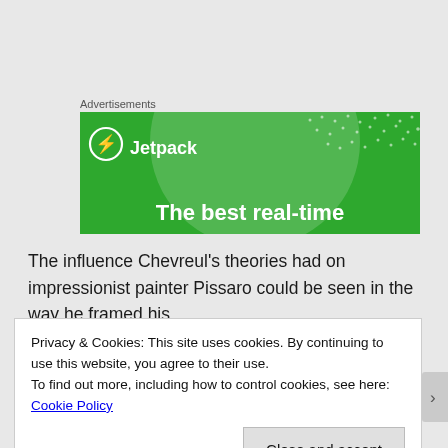Advertisements
[Figure (illustration): Jetpack advertisement banner on green background with large circle graphic, white logo and text 'The best real-time']
The influence Chevreul’s theories had on impressionist painter Pissaro could be seen in the way he framed his
Privacy & Cookies: This site uses cookies. By continuing to use this website, you agree to their use.
To find out more, including how to control cookies, see here: Cookie Policy
Close and accept